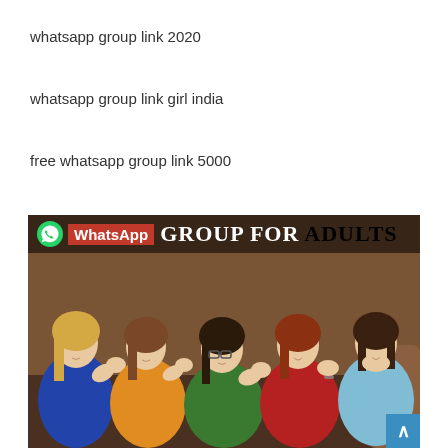whatsapp group link 2020
whatsapp group link girl india
free whatsapp group link 5000
[Figure (photo): Photo of five women sitting in a row, whispering to each other with hands cupped to mouths, wearing colorful shirts (blue, orange, green, red, light blue), with 'WhatsApp GROUP FOR ADULTS' text overlay at the top and a scroll-to-top button in the bottom right corner.]